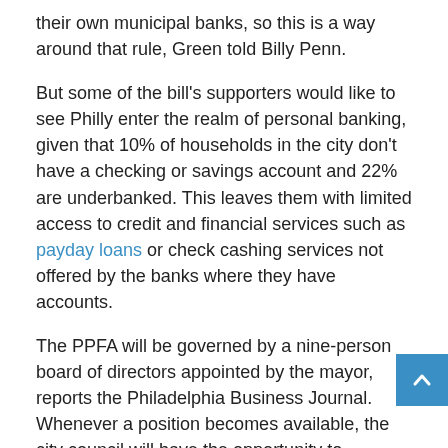their own municipal banks, so this is a way around that rule, Green told Billy Penn.
But some of the bill's supporters would like to see Philly enter the realm of personal banking, given that 10% of households in the city don't have a checking or savings account and 22% are underbanked. This leaves them with limited access to credit and financial services such as payday loans or check cashing services not offered by the banks where they have accounts.
The PPFA will be governed by a nine-person board of directors appointed by the mayor, reports the Philadelphia Business Journal. Whenever a position becomes available, the city council will have the opportunity to recommend candidates. These trustees will appoint a nine-person policy council that will guide the day-to-day operations of the authority.
At least five board members would need five years of experience working on issues such as neighborhood small business development, public transportation, and